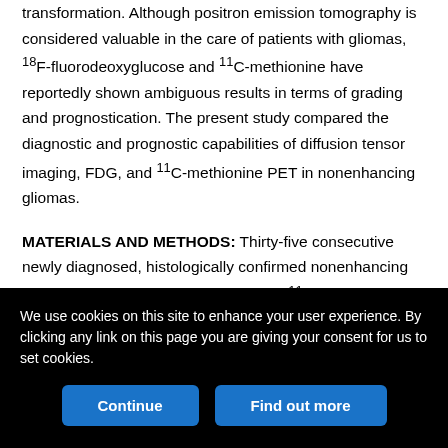transformation. Although positron emission tomography is considered valuable in the care of patients with gliomas, 18F-fluorodeoxyglucose and 11C-methionine have reportedly shown ambiguous results in terms of grading and prognostication. The present study compared the diagnostic and prognostic capabilities of diffusion tensor imaging, FDG, and 11C-methionine PET in nonenhancing gliomas.
MATERIALS AND METHODS: Thirty-five consecutive newly diagnosed, histologically confirmed nonenhancing gliomas that underwent both FDG and 11C-methionine PET were retrospectively investigated (23 grade II and 12 grade III gliomas). Apparent diffusion coefficient, fractional anisotropy, and tumor-to-normal tissue ratios of both FDG and 11C-methionine PET were compared
We use cookies on this site to enhance your user experience. By clicking any link on this page you are giving your consent for us to set cookies.